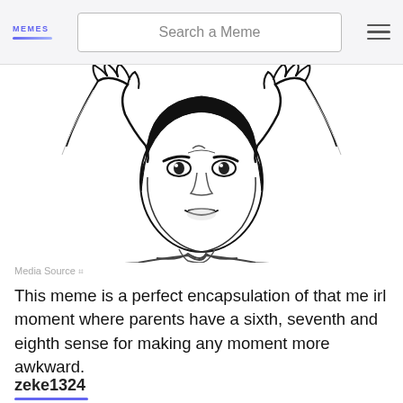MEMES | Search a Meme
[Figure (illustration): Black and white line drawing of a person (Jackie Chan facepalm meme) with both hands on head, looking distressed or facepalming, commonly known as the 'My brain is full of fuck' or Jackie Chan WTF meme.]
Media Source
This meme is a perfect encapsulation of that me irl moment where parents have a sixth, seventh and eighth sense for making any moment more awkward.
zeke1324